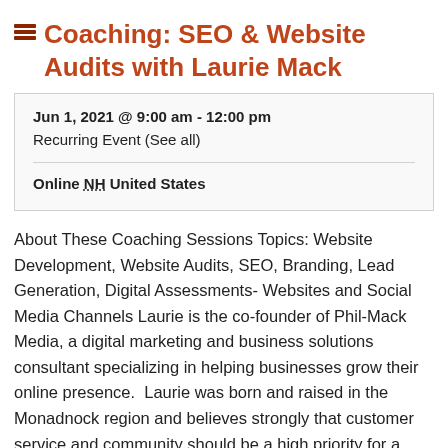Coaching: SEO & Website Audits with Laurie Mack
Jun 1, 2021 @ 9:00 am - 12:00 pm
Recurring Event (See all)
Online NH United States
About These Coaching Sessions Topics: Website Development, Website Audits, SEO, Branding, Lead Generation, Digital Assessments- Websites and Social Media Channels Laurie is the co-founder of Phil-Mack Media, a digital marketing and business solutions consultant specializing in helping businesses grow their online presence.  Laurie was born and raised in the Monadnock region and believes strongly that customer service and community should be a high priority for a